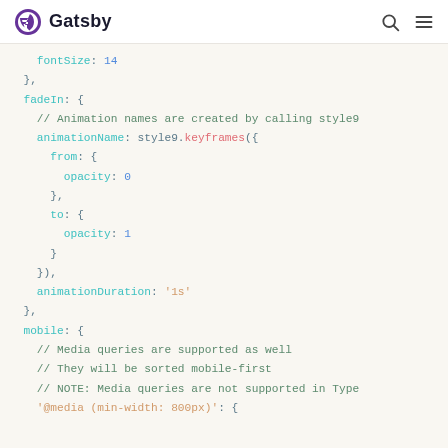Gatsby
Code snippet showing style9.keyframes animation and mobile media query usage in Gatsby styling API